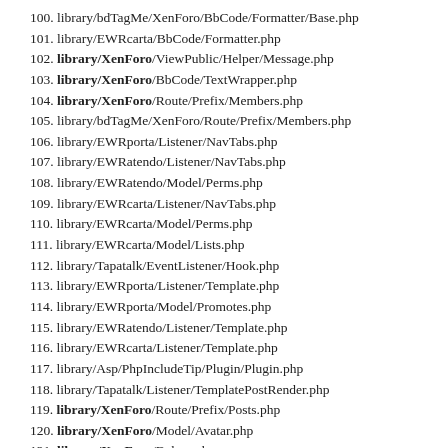100. library/bdTagMe/XenForo/BbCode/Formatter/Base.php
101. library/EWRcarta/BbCode/Formatter.php
102. library/XenForo/ViewPublic/Helper/Message.php
103. library/XenForo/BbCode/TextWrapper.php
104. library/XenForo/Route/Prefix/Members.php
105. library/bdTagMe/XenForo/Route/Prefix/Members.php
106. library/EWRporta/Listener/NavTabs.php
107. library/EWRatendo/Listener/NavTabs.php
108. library/EWRatendo/Model/Perms.php
109. library/EWRcarta/Listener/NavTabs.php
110. library/EWRcarta/Model/Perms.php
111. library/EWRcarta/Model/Lists.php
112. library/Tapatalk/EventListener/Hook.php
113. library/EWRporta/Listener/Template.php
114. library/EWRporta/Model/Promotes.php
115. library/EWRatendo/Listener/Template.php
116. library/EWRcarta/Listener/Template.php
117. library/Asp/PhpIncludeTip/Plugin/Plugin.php
118. library/Tapatalk/Listener/TemplatePostRender.php
119. library/XenForo/Route/Prefix/Posts.php
120. library/XenForo/Model/Avatar.php
121. library/XenForo/Debug.php
122. mobiquo/smartbanner/head.inc.php
123. library/XenForo/ViewRenderer/Json.php